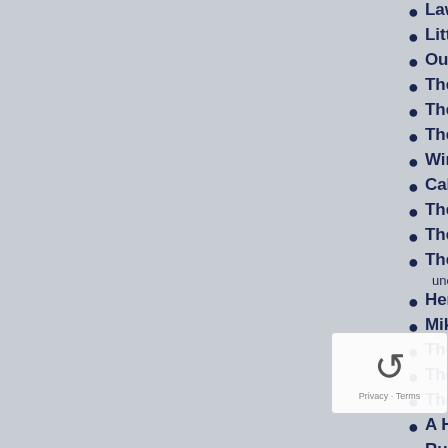Law of the Lawless (1923)
Little Old New York (1923)
Our Alley (1923)
The Darling of New York (1923) (as
The Fourth Musketeer (1923)
The Spanish Dancer (1923)
Winning His Way (1924) (as Orphan)
Call a Cab (1925) (as Little Brother)
The Great Circus Mystery (1925)
The Great Love (1925) (as Patrick)
The Road to Yesterday (1925) (a... uncredited)
Her Man o' War (1926) (as Peterkin S...
Mike (1926) (as Boy)
The Last Frontier (1926) (as Buddy)
The Open Switch (1926)
The Skyrocket (1926) (as Mickey)
A Harp in Hock (1927) (as Tommy Sha...
Rubber Tires (1927) (as Charley Stack...
Slide, Kelly, Slide (1927) (as Mick...
The Country Doctor (192...
The Yankee Clipper (19... [bold, red year]
Let 'er Go, Gallegher (1928) [bold, red year]